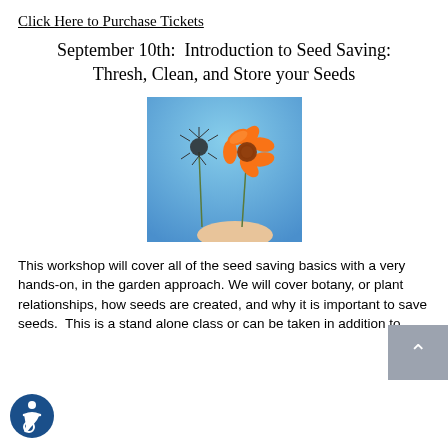Click Here to Purchase Tickets
September 10th:  Introduction to Seed Saving: Thresh, Clean, and Store your Seeds
[Figure (photo): A hand holding an orange cosmos flower and a dried seed head against a blue sky background.]
This workshop will cover all of the seed saving basics with a very hands-on, in the garden approach. We will cover botany, or plant relationships, how seeds are created, and why it is important to save seeds.  This is a stand alone class or can be taken in addition to